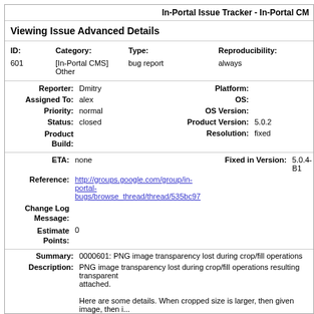In-Portal Issue Tracker - In-Portal CM
Viewing Issue Advanced Details
| ID: | Category: | Type: | Reproducibility: |
| --- | --- | --- | --- |
| 601 | [In-Portal CMS] Other | bug report | always |
| Reporter: | Platform: | Assigned To: | OS: | Priority: | OS Version: | Status: | Product Version: | Product Build: | Resolution: |
| --- | --- | --- | --- | --- | --- | --- | --- | --- | --- |
| Dmitry |  | alex |  | normal |  | closed | 5.0.2 |  | fixed |
| ETA: | Fixed in Version: | Reference: | Change Log Message: | Estimate Points: |
| --- | --- | --- | --- | --- |
| none | 5.0.4-B1 | http://groups.google.com/group/in-portal-bugs/browse_thread/thread/535bc97 |  | 0 |
Summary: 0000601: PNG image transparency lost during crop/fill operations
Description: PNG image transparency lost during crop/fill operations resulting transparent ... attached.

Here are some details. When cropped size is larger, then given image, then i... and larger canvas image is created to place source image on it. Source image... but created canvas wasn't. When merged together alpha channel informati...